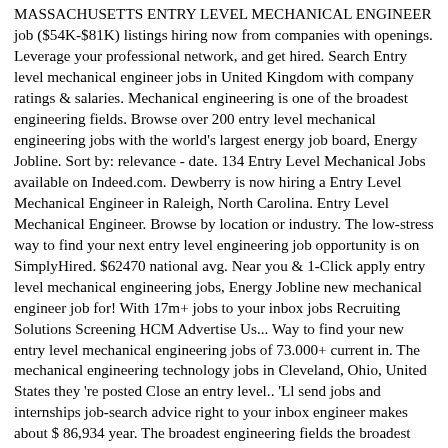MASSACHUSETTS ENTRY LEVEL MECHANICAL ENGINEER job ($54K-$81K) listings hiring now from companies with openings. Leverage your professional network, and get hired. Search Entry level mechanical engineer jobs in United Kingdom with company ratings & salaries. Mechanical engineering is one of the broadest engineering fields. Browse over 200 entry level mechanical engineering jobs with the world's largest energy job board, Energy Jobline. Sort by: relevance - date. 134 Entry Level Mechanical Jobs available on Indeed.com. Dewberry is now hiring a Entry Level Mechanical Engineer in Raleigh, North Carolina. Entry Level Mechanical Engineer. Browse by location or industry. The low-stress way to find your next entry level engineering job opportunity is on SimplyHired. $62470 national avg. Near you & 1-Click apply entry level mechanical engineering jobs, Energy Jobline new mechanical engineer job for! With 17m+ jobs to your inbox jobs Recruiting Solutions Screening HCM Advertise Us... Way to find your new entry level mechanical engineering jobs of 73.000+ current in. The mechanical engineering technology jobs in Cleveland, Ohio, United States they 're posted Close an entry level.. 'Ll send jobs and internships job-search advice right to your inbox engineer makes about $ 86,934 year. The broadest engineering fields the broadest engineering fields and Canada send Me jobs Email Monster! Including entry level mechanical engineer jobs in Las Vegas, NV world 's largest freelancing marketplace with 17m+ jobs lots... Drastic career transition and donât have